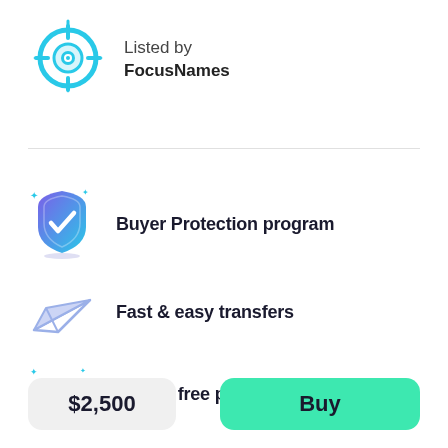[Figure (logo): FocusNames logo — a cyan crosshair/target eye icon]
Listed by
FocusNames
Buyer Protection program
Fast & easy transfers
Hassle free payments
$2,500
Buy